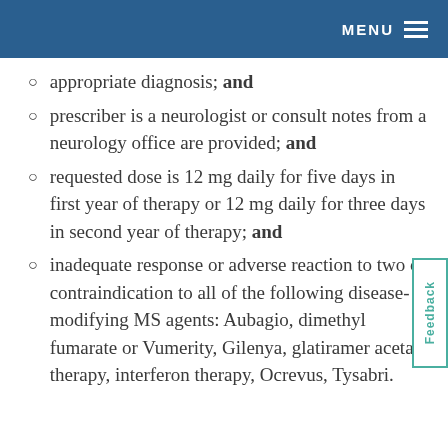MENU
appropriate diagnosis; and
prescriber is a neurologist or consult notes from a neurology office are provided; and
requested dose is 12 mg daily for five days in first year of therapy or 12 mg daily for three days in second year of therapy; and
inadequate response or adverse reaction to two or contraindication to all of the following disease-modifying MS agents: Aubagio, dimethyl fumarate or Vumerity, Gilenya, glatiramer acetate therapy, interferon therapy, Ocrevus, Tysabri.